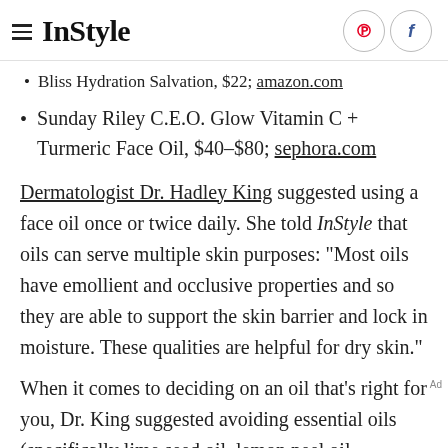InStyle
Bliss Hydration Salvation, $22; amazon.com
Sunday Riley C.E.O. Glow Vitamin C + Turmeric Face Oil, $40–$80; sephora.com
Dermatologist Dr. Hadley King suggested using a face oil once or twice daily. She told InStyle that oils can serve multiple skin purposes: "Most oils have emollient and occlusive properties and so they are able to support the skin barrier and lock in moisture. These qualities are helpful for dry skin."
When it comes to deciding on an oil that's right for you, Dr. King suggested avoiding essential oils (specifically lime seed oil, lemon peel oil…